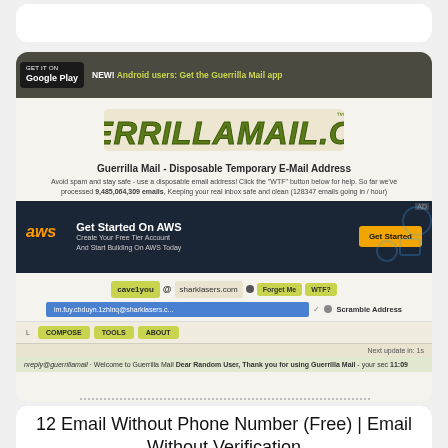[Figure (screenshot): Screenshot of guerrillamail.com website showing a disposable temporary email address service. Features Google Play badge, AWS advertisement banner, email address input fields with shark lasers domain, Forget Me and WTF buttons, Scramble Address option, Compose/Tools/About tabs, and an email inbox row.]
12 Email Without Phone Number (Free) | Email Without Verification